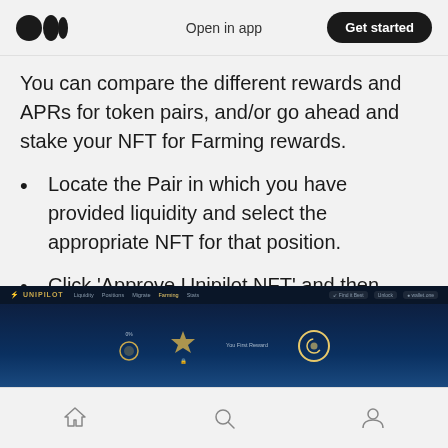Open in app | Get started
You can compare the different rewards and APRs for token pairs, and/or go ahead and stake your NFT for Farming rewards.
Locate the Pair in which you have provided liquidity and select the appropriate NFT for that position.
Click ‘Approve Unipilot NFT’ and then ‘Stake NFT’.
[Figure (screenshot): Screenshot of the Unipilot farming interface showing a dark-themed DeFi dashboard with navigation bar (Liquidity, Farming, Migrate, Farming, Stats tabs), farming stats including a token icon, 'You First Reward' label, and a circular progress element on a dark blue background.]